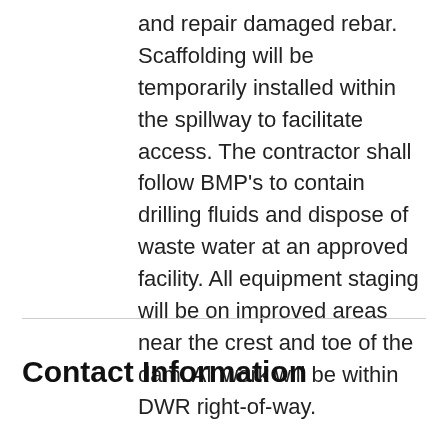and repair damaged rebar. Scaffolding will be temporarily installed within the spillway to facilitate access. The contractor shall follow BMP's to contain drilling fluids and dispose of waste water at an approved facility. All equipment staging will be on improved areas near the crest and toe of the dam. All work will be within DWR right-of-way.
Contact Information